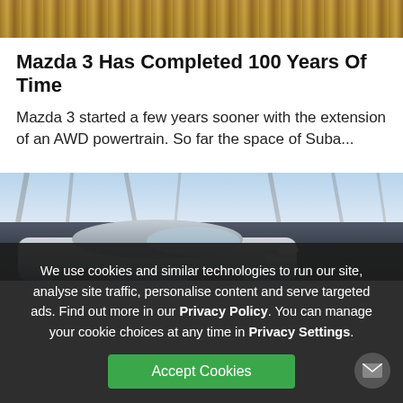[Figure (photo): Top portion of an autumn scene with fallen leaves on the ground, cropped at the top of the page.]
Mazda 3 Has Completed 100 Years Of Time
Mazda 3 started a few years sooner with the extension of an AWD powertrain. So far the space of Suba...
[Figure (photo): A silver/grey car (Mazda 3) driving on a road with blurred trees in the background, motion blur effect.]
We use cookies and similar technologies to run our site, analyse site traffic, personalise content and serve targeted ads. Find out more in our Privacy Policy. You can manage your cookie choices at any time in Privacy Settings.
Accept Cookies